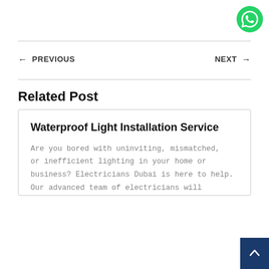[Figure (logo): WhatsApp green chat button icon in top right corner]
← PREVIOUS    NEXT →
Related Post
Waterproof Light Installation Service
Are you bored with uninviting, mismatched, or inefficient lighting in your home or business? Electricians Dubai is here to help. Our advanced team of electricians will